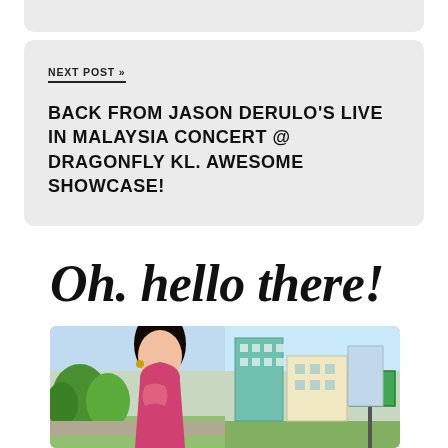NEXT POST »
BACK FROM JASON DERULO'S LIVE IN MALAYSIA CONCERT @ DRAGONFLY KL. AWESOME SHOWCASE!
Oh. hello there!
[Figure (photo): A young Asian woman in a pink floral outfit standing outdoors with trees and city buildings in the background]